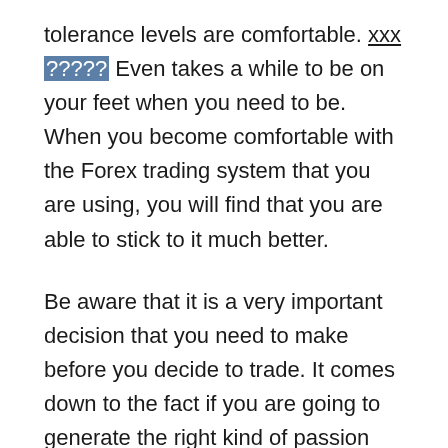tolerance levels are comfortable. xxx ????? Even takes a while to be on your feet when you need to be. When you become comfortable with the Forex trading system that you are using, you will find that you are able to stick to it much better.
Be aware that it is a very important decision that you need to make before you decide to trade. It comes down to the fact if you are going to generate the right kind of passion and alertness and be able to make smart choices that can help you with the Forex trading system. A lot of things can happen when you decide to deal with the Forex market. The success is usually the product of people who make the right decisions. If you do not have the determination to be involved, then there is a pretty